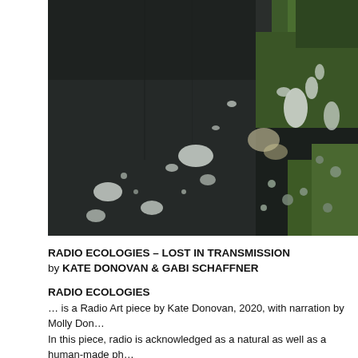[Figure (photo): Aerial or close-up photograph of a dark rocky/watery surface with white foam or lichen patches and green moss or algae on the right side. The image shows a natural landscape with dark tones dominating the left and center, with greenery on the right.]
RADIO ECOLOGIES – LOST IN TRANSMISSION
by KATE DONOVAN & GABI SCHAFFNER
RADIO ECOLOGIES
… is a Radio Art piece by Kate Donovan, 2020, with narration by Molly Don…
In this piece, radio is acknowledged as a natural as well as a human-made ph…